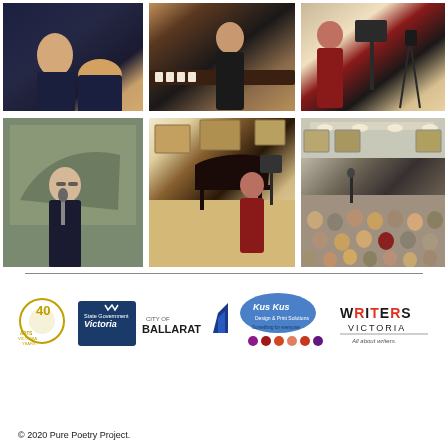[Figure (photo): Grid of 6 event photos showing musicians and audience at a poetry/music concert event. Top row: close-up of performers, pianist at upright piano, musicians with music stands. Bottom row: man speaking at microphone in front of painting, grand piano with violin player in gallery, audience seated in gallery hall.]
[Figure (logo): Arts Victoria 40 Years logo, Victoria state government logo, City of Ballarat logo, Kus Kus Design & Print Solutions logo with coloured dots, Writers Victoria logo with tagline 'All about writers.']
© 2020 Pure Poetry Project.